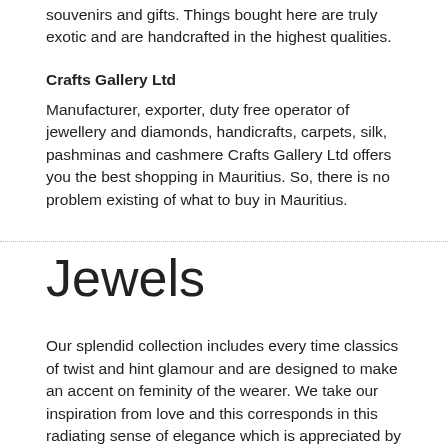souvenirs and gifts. Things bought here are truly exotic and are handcrafted in the highest qualities.
Crafts Gallery Ltd
Manufacturer, exporter, duty free operator of jewellery and diamonds, handicrafts, carpets, silk, pashminas and cashmere Crafts Gallery Ltd offers you the best shopping in Mauritius. So, there is no problem existing of what to buy in Mauritius.
Jewels
Our splendid collection includes every time classics of twist and hint glamour and are designed to make an accent on feminity of the wearer. We take our inspiration from love and this corresponds in this radiating sense of elegance which is appreciated by women and men who see them.